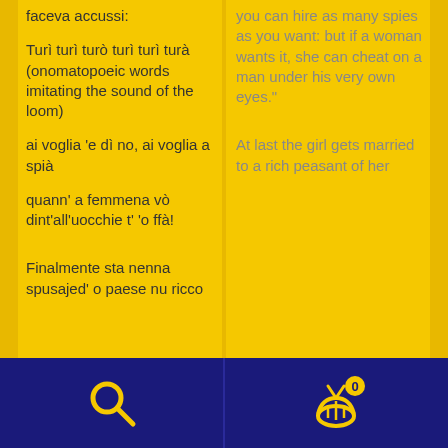faceva accussi:
Turì turì turò turì turì turà (onomatopoeic words imitating the sound of the loom)
ai voglia 'e dì no, ai voglia a spià
quann' a femmena vò dint'all'uocchie t' 'o ffà!
Finalmente sta nenna spusajed' o paese nu ricco
you can hire as many spies as you want: but if a woman wants it, she can cheat on a man under his very own eyes."
At last the girl gets married to a rich peasant of her